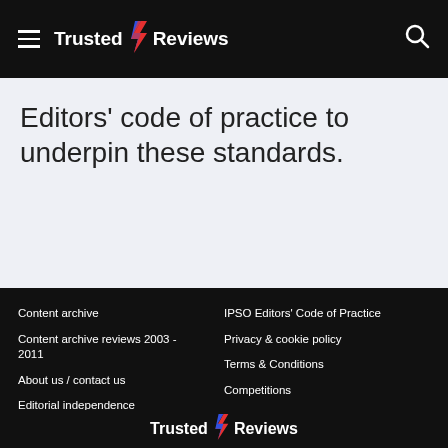Trusted Reviews
Editors' code of practice to underpin these standards.
Content archive
Content archive reviews 2003 - 2011
About us / contact us
Editorial independence
Advertising Terms and Conditions
IPSO Editors' Code of Practice
Privacy & cookie policy
Terms & Conditions
Competitions
Advertise with us
Sustainable technology innovations
Trusted Reviews